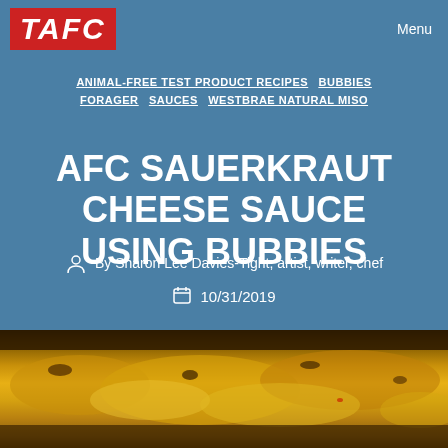TAFC | Menu
ANIMAL-FREE TEST PRODUCT RECIPES
BUBBIES
FORAGER
SAUCES
WESTBRAE NATURAL MISO
AFC SAUERKRAUT CHEESE SAUCE USING BUBBIES
By Sharon Lee Davies-Tight, artist, writer, chef
10/31/2019
[Figure (photo): Close-up photo of sauerkraut cheese sauce, showing a golden-yellow melted cheese sauce with visible chunks and a glossy texture on a dark background]